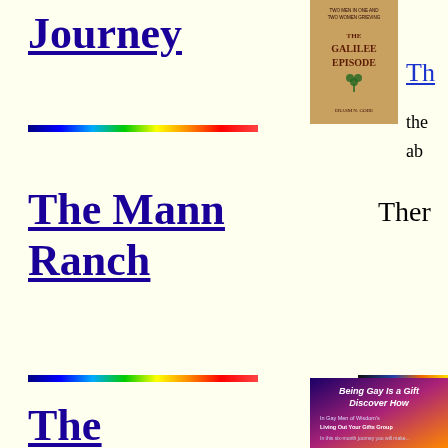Journey
[Figure (illustration): Rainbow horizontal bar divider]
[Figure (photo): Book cover: The Galilee Episode]
Th
the ab
The Mann Ranch
Ther
[Figure (illustration): Rainbow horizontal bar divider]
[Figure (illustration): Dark horizontal bar divider (right side)]
The
[Figure (photo): Being Gay Is a Gift – Discover How. In Gay Men of Wisdom's Living Out Your Gifts Group. In this six-month journey you will make...]